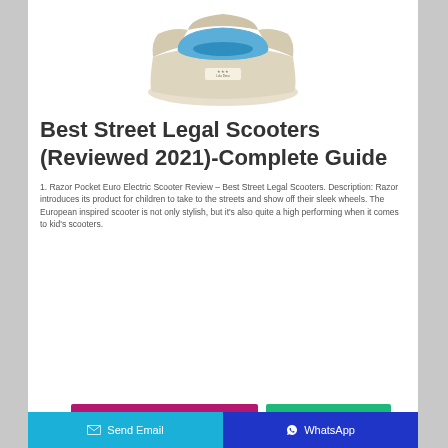[Figure (photo): A beige and blue children's potty/training toilet with a blue lid and seat, on a white background. Brand label visible on front.]
Best Street Legal Scooters (Reviewed 2021)-Complete Guide
1. Razor Pocket Euro Electric Scooter Review – Best Street Legal Scooters. Description: Razor introduces its product for children to take to the streets and show off their sleek wheels. The European inspired scooter is not only stylish, but it's also quite a high performing when it comes to kid's scooters.
Send Email | WhatsApp